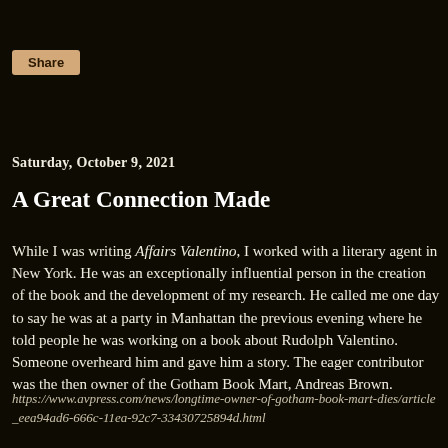Saturday, October 9, 2021
A Great Connection Made
While I was writing Affairs Valentino, I worked with a literary agent in New York. He was an exceptionally influential person in the creation of the book and the development of my research. He called me one day to say he was at a party in Manhattan the previous evening where he told people he was working on a book about Rudolph Valentino. Someone overheard him and gave him a story. The eager contributor was the then owner of the Gotham Book Mart, Andreas Brown.
https://www.avpress.com/news/longtime-owner-of-gotham-book-mart-dies/article_eea94ad6-666c-11ea-92c7-33430725894d.html